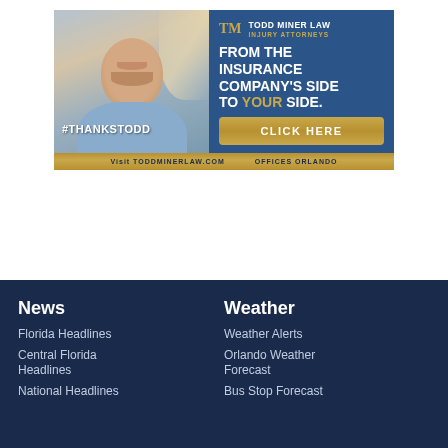[Figure (illustration): Todd Miner Law advertisement banner. Left half shows a smiling man in a blue shirt with text '#THANKSTODD'. Right half has dark blue background with logo 'TM Todd Miner Law Injury Attorneys', headline 'FROM THE INSURANCE COMPANY'S SIDE TO YOUR SIDE.', and a gold 'CLICK HERE' button. Footer bar reads 'Visit TODDMINERLAW.COM   OFFICES ORLANDO'.]
News
Florida Headlines
Central Florida Headlines
National Headlines
Weather
Weather Alerts
Orlando Weather Forecast
Bus Stop Forecast